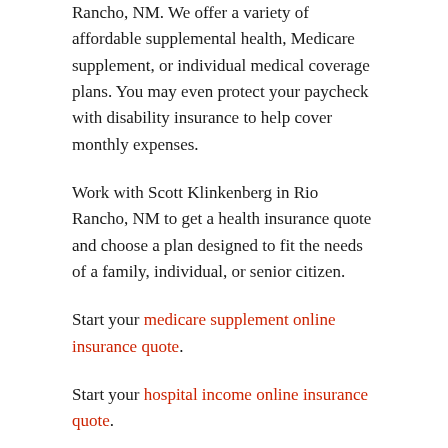Rancho, NM. We offer a variety of affordable supplemental health, Medicare supplement, or individual medical coverage plans. You may even protect your paycheck with disability insurance to help cover monthly expenses.
Work with Scott Klinkenberg in Rio Rancho, NM to get a health insurance quote and choose a plan designed to fit the needs of a family, individual, or senior citizen.
Start your medicare supplement online insurance quote.
Start your hospital income online insurance quote.
Banking
Banking, your way. When, where, and how you want.